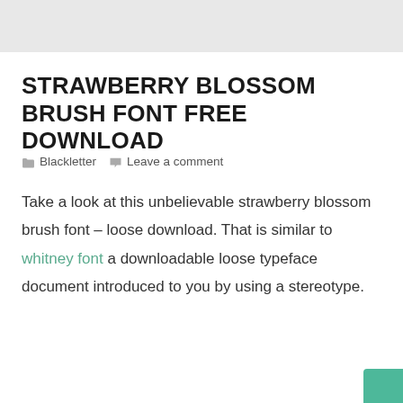STRAWBERRY BLOSSOM BRUSH FONT FREE DOWNLOAD
Blackletter   Leave a comment
Take a look at this unbelievable strawberry blossom brush font – loose download. That is similar to whitney font a downloadable loose typeface document introduced to you by using a stereotype.